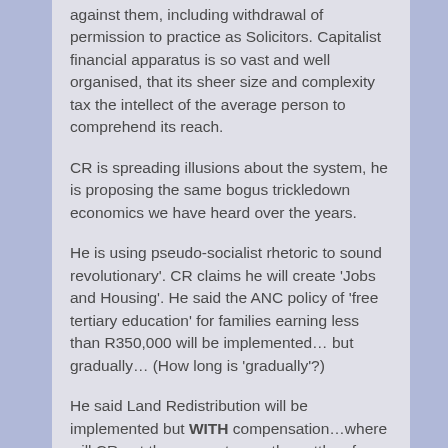against them, including withdrawal of permission to practice as Solicitors. Capitalist financial apparatus is so vast and well organised, that its sheer size and complexity tax the intellect of the average person to comprehend its reach.
CR is spreading illusions about the system, he is proposing the same bogus trickledown economics we have heard over the years.
He is using pseudo-socialist rhetoric to sound revolutionary'. CR claims he will create 'Jobs and Housing'. He said the ANC policy of 'free tertiary education' for families earning less than R350,000 will be implemented… but gradually… (How long is 'gradually'?)
He said Land Redistribution will be implemented but WITH compensation…where will CR get the money to pay the settlers for the land? Guess there won't be any land